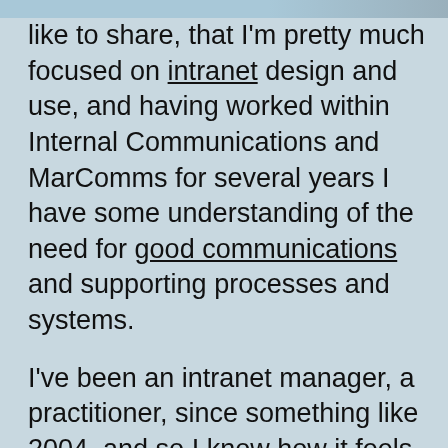like to share, that I'm pretty much focused on intranet design and use, and having worked within Internal Communications and MarComms for several years I have some understanding of the need for good communications and supporting processes and systems.
I've been an intranet manager, a practitioner, since something like 2004, and so I know how it feels to have a broken intranet, a damaged structure, an overwhelmed home page and an unimpressed, disengaged audience. I know what it takes to redesign and renovate